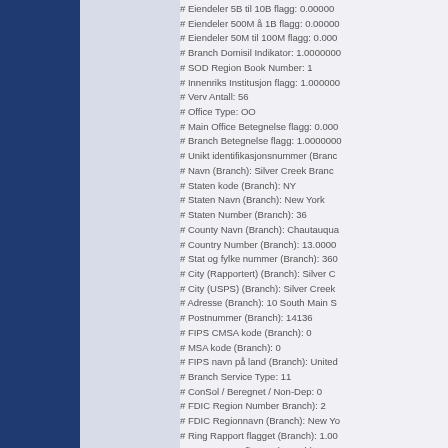# Eiendeler 5B til 10B flagg: 0.00000
# Eiendeler 500M å 1B flagg: 0.00000
# Eiendeler 50M til 100M flagg: 0.000
# Branch Domisil Indikator: 1.0000000
# SOD Region Book Number: 1
# Innenriks Institusjon flagg: 1.000000
# Verv Antall: 56
# Office Type: OO
# Main Office Betegnelse flagg: 0.000
# Branch Betegnelse flagg: 1.0000000
# Unikt identifikasjonsnummer (Branc
# Navn (Branch): Silver Creek Branc
# Staten kode (Branch): NY
# Staten Navn (Branch): New York
# Staten Number (Branch): 36
# County Navn (Branch): Chautauqua
# Country Number (Branch): 13.0000
# Stat og fylke nummer (Branch): 360
# City (Rapportert) (Branch): Silver C
# City (USPS) (Branch): Silver Creek
# Adresse (Branch): 10 South Main S
# Postnummer (Branch): 14136
# FIPS CMSA kode (Branch): 0
# MSA kode (Branch): 0
# FIPS navn på land (Branch): United
# Branch Service Type: 11
# ConSol / Beregnet / Non-Dep: 0
# FDIC Region Number Branch): 2
# FDIC Regionnavn (Branch): New Yo
# Ring Rapport flagget (Branch): 1.00
# TFR Rapport flagget (Branch): 0.00
# Rapport Dato: 0000-00-00 00:00:00
# Rapport Dato (ÅMMDD): 2002-